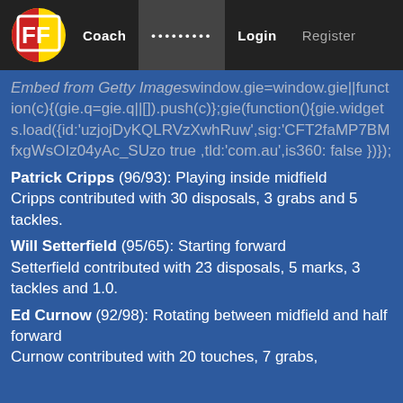FF | Coach | ......... | Login | Register
Embed from Getty Imageswindow.gie=window.gie||function(c){(gie.q=gie.q||[]).push(c)};gie(function(){gie.widgets.load({id:'uzjojDyKQLRVzXwhRuSiw',sig:'CFT2faMP7BMfxgWsOIz04yAc_SUzo true ,tld:'com.au',is360: false })});
Patrick Cripps (96/93): Playing inside midfield
Cripps contributed with 30 disposals, 3 grabs and 5 tackles.
Will Setterfield (95/65): Starting forward
Setterfield contributed with 23 disposals, 5 marks, 3 tackles and 1.0.
Ed Curnow (92/98): Rotating between midfield and half forward
Curnow contributed with 20 touches, 7 grabs,